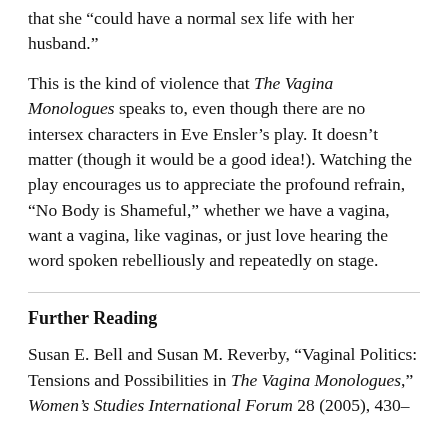that she “could have a normal sex life with her husband.”
This is the kind of violence that The Vagina Monologues speaks to, even though there are no intersex characters in Eve Ensler’s play. It doesn’t matter (though it would be a good idea!). Watching the play encourages us to appreciate the profound refrain, “No Body is Shameful,” whether we have a vagina, want a vagina, like vaginas, or just love hearing the word spoken rebelliously and repeatedly on stage.
Further Reading
Susan E. Bell and Susan M. Reverby, “Vaginal Politics: Tensions and Possibilities in The Vagina Monologues,” Women’s Studies International Forum 28 (2005), 430–